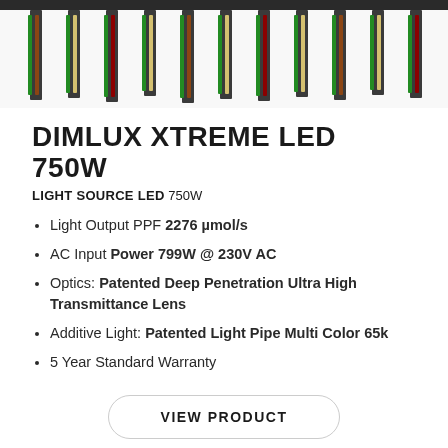[Figure (photo): Top portion of a Dimlux Xtreme LED 750W grow light fixture showing multiple LED bars with green, white, and red colored light pipes against a white background.]
DIMLUX XTREME LED 750W
LIGHT SOURCE LED 750W
Light Output PPF 2276 µmol/s
AC Input Power 799W @ 230V AC
Optics: Patented Deep Penetration Ultra High Transmittance Lens
Additive Light: Patented Light Pipe Multi Color 65k
5 Year Standard Warranty
VIEW PRODUCT